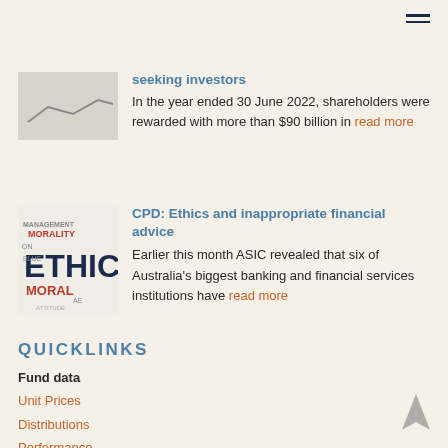[Figure (illustration): Small thumbnail image showing a downward-trending line chart]
seeking investors
In the year ended 30 June 2022, shareholders were rewarded with more than $90 billion in read more
[Figure (illustration): Word cloud image with words ETHIC, MORALITY, MORAL, MANAGEMENT in red and blue]
CPD: Ethics and inappropriate financial advice
Earlier this month ASIC revealed that six of Australia's biggest banking and financial services institutions have read more
QUICKLINKS
Fund data
Unit Prices
Distributions
Performance